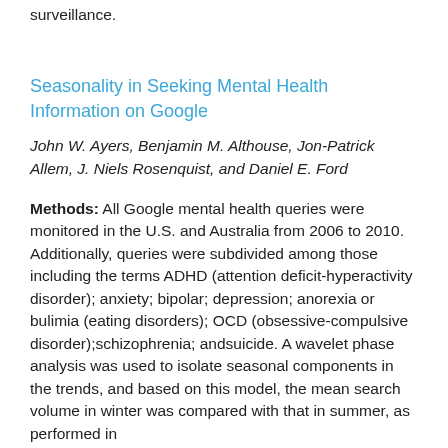surveillance.
Seasonality in Seeking Mental Health Information on Google
John W. Ayers, Benjamin M. Althouse, Jon-Patrick Allem, J. Niels Rosenquist, and Daniel E. Ford
Methods: All Google mental health queries were monitored in the U.S. and Australia from 2006 to 2010. Additionally, queries were subdivided among those including the terms ADHD (attention deficit-hyperactivity disorder); anxiety; bipolar; depression; anorexia or bulimia (eating disorders); OCD (obsessive-compulsive disorder);schizophrenia; andsuicide. A wavelet phase analysis was used to isolate seasonal components in the trends, and based on this model, the mean search volume in winter was compared with that in summer, as performed in